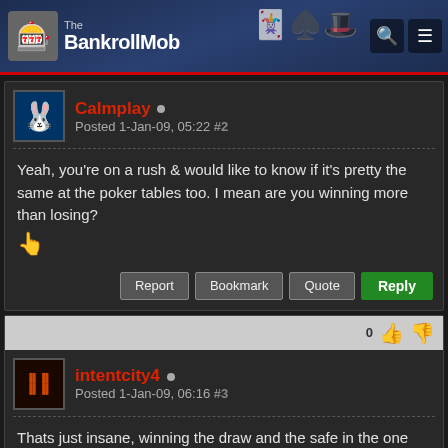The BankrollMob
Calmplay
Posted 1-Jan-09, 05:22 #2
Yeah, you're on a rush & would like to know if it's pretty the same at the poker tables too. I mean are you winning more than losing?
intentcity4
Posted 1-Jan-09, 06:16 #3
Thats just insane, winning the draw and the safe in the one week, how many tickets did you buy for the draw ?, and how many shots on the safe did you buy (if any) congrats.